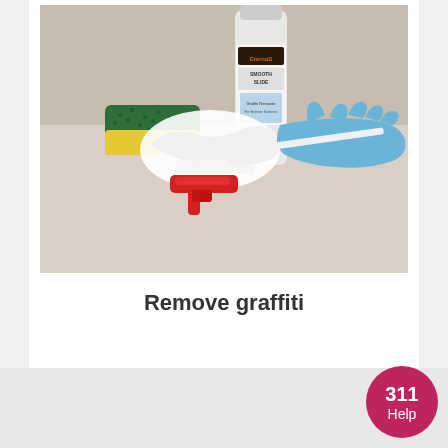[Figure (photo): Graffiti removal supplies on a table: a bottle of graffiti remover (EternaSolutions Smooth Slide), a green scrubbing sponge, white cloth/rag, blue rubber gloves, a white spray nozzle with red trigger handle.]
Remove graffiti
311 Help